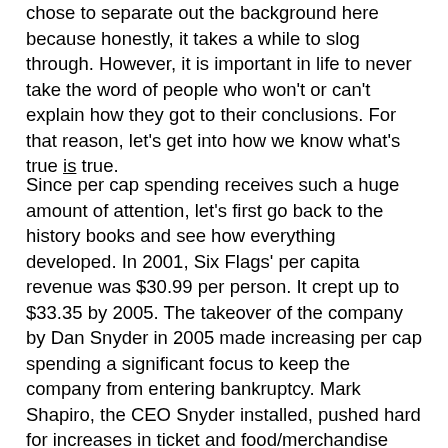chose to separate out the background here because honestly, it takes a while to slog through. However, it is important in life to never take the word of people who won't or can't explain how they got to their conclusions. For that reason, let's get into how we know what's true is true.
Since per cap spending receives such a huge amount of attention, let's first go back to the history books and see how everything developed. In 2001, Six Flags' per capita revenue was $30.99 per person. It crept up to $33.35 by 2005. The takeover of the company by Dan Snyder in 2005 made increasing per cap spending a significant focus to keep the company from entering bankruptcy. Mark Shapiro, the CEO Snyder installed, pushed hard for increases in ticket and food/merchandise pricing and managed to increase per capita spending 14% between 2005 to 2007. His plan also included a very different methodology to capital expenditures at parks: he spent money on intellectual properties and opted to primarily build rides with lower height requirements and children's section to encourage family visitation, while repackaging existing headlining attractions to promote them as new. His rationale was simple: market research